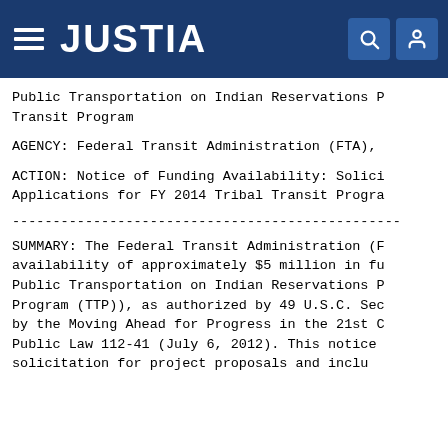JUSTIA
Public Transportation on Indian Reservations P... Transit Program
AGENCY: Federal Transit Administration (FTA),
ACTION: Notice of Funding Availability: Solici... Applications for FY 2014 Tribal Transit Progra...
------------------------------------------------------------------------
SUMMARY: The Federal Transit Administration (F... availability of approximately $5 million in fu... Public Transportation on Indian Reservations P... Program (TTP)), as authorized by 49 U.S.C. Sec... by the Moving Ahead for Progress in the 21st C... Public Law 112-41 (July 6, 2012). This notice... solicitation for project proposals and inclu...